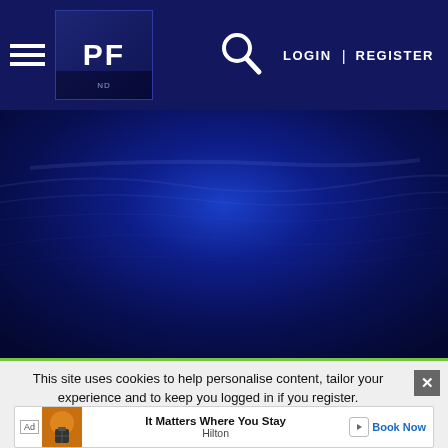[Figure (screenshot): Website navigation bar with hamburger menu icon, PF logo, search icon, LOGIN and REGISTER links on dark navy blue background]
[Figure (photo): Dark blue water or ocean surface background image for website hero section]
This site uses cookies to help personalise content, tailor your experience and to keep you logged in if you register.
By continuing to use this site, you are consenting to our use of cookies.
Ad  It Matters Where You Stay  Hilton  Book Now